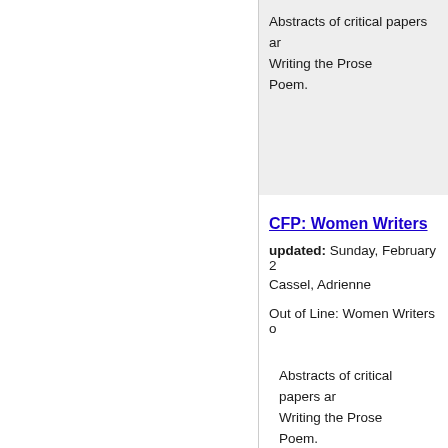Abstracts of critical papers ar
Writing the Prose
Poem.
CFP: Women Writers
updated: Sunday, February 2
Cassel, Adrienne
Out of Line: Women Writers o
Abstracts of critical papers ar
Writing the Prose
Poem.